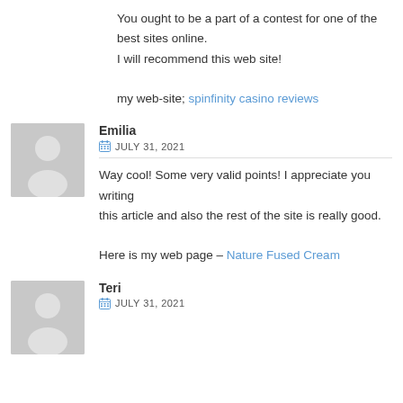You ought to be a part of a contest for one of the best sites online.
I will recommend this web site!

my web-site; spinfinity casino reviews
[Figure (illustration): Gray placeholder avatar silhouette icon for user Emilia]
Emilia
JULY 31, 2021
Way cool! Some very valid points! I appreciate you writing
this article and also the rest of the site is really good.

Here is my web page – Nature Fused Cream
[Figure (illustration): Gray placeholder avatar silhouette icon for user Teri]
Teri
JULY 31, 2021